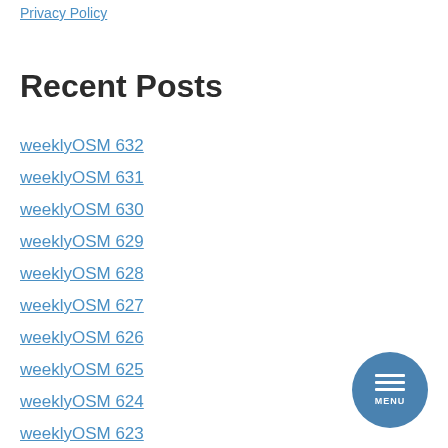Privacy Policy
Recent Posts
weeklyOSM 632
weeklyOSM 631
weeklyOSM 630
weeklyOSM 629
weeklyOSM 628
weeklyOSM 627
weeklyOSM 626
weeklyOSM 625
weeklyOSM 624
weeklyOSM 623